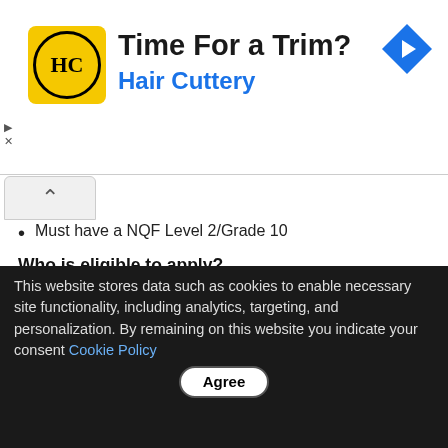[Figure (other): Hair Cuttery advertisement banner with logo, text 'Time For a Trim? Hair Cuttery', and a blue navigation diamond icon]
Must have a NQF Level 2/Grade 10
Who is eligible to apply?
1. South African citizens who are permanent residents of the City of Mbombela.
2. Applicants must not have participated in any Internship programme.
How to apply
No application forms required. Please send your application letter in conjunction with your comprehensive curriculum vitae, as well as certified copies of certificates to the Senior Manager: Human Resources, City of Mbombela, P.O. Box 45
This website stores data such as cookies to enable necessary site functionality, including analytics, targeting, and personalization. By remaining on this website you indicate your consent Cookie Policy Agree